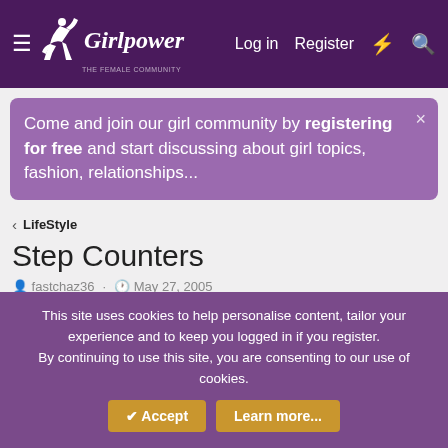Girlpower — Log in | Register
Come and join our girl community by registering for free and start discussing about girl topics, fashion, relationships...
< LifeStyle
Step Counters
fastchaz36 · May 27, 2005
fastchaz36
New Member
May 27, 2005  #1
This site uses cookies to help personalise content, tailor your experience and to keep you logged in if you register.
By continuing to use this site, you are consenting to our use of cookies.
Accept  Learn more...